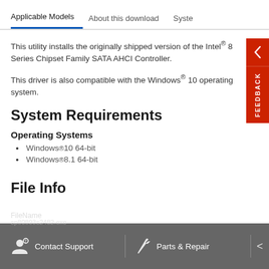Applicable Models | About this download | Syste
This utility installs the originally shipped version of the Intel® 8 Series Chipset Family SATA AHCI Controller.
This driver is also compatible with the Windows® 10 operating system.
System Requirements
Operating Systems
Windows® 10 64-bit
Windows® 8.1 64-bit
File Info
Contact Support   Parts & Repair